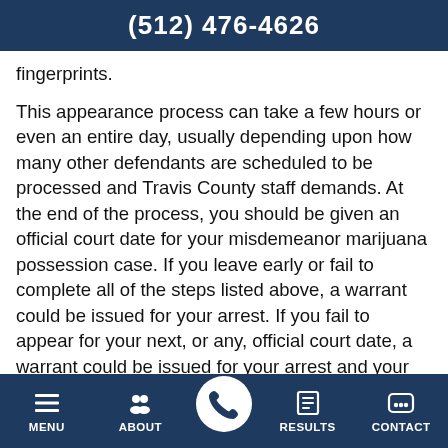(512) 476-4626
fingerprints.
This appearance process can take a few hours or even an entire day, usually depending upon how many other defendants are scheduled to be processed and Travis County staff demands. At the end of the process, you should be given an official court date for your misdemeanor marijuana possession case. If you leave early or fail to complete all of the steps listed above, a warrant could be issued for your arrest. If you fail to appear for your next, or any, official court date, a warrant could be issued for your arrest and your bond forfeited.
MENU  ABOUT  RESULTS  CONTACT